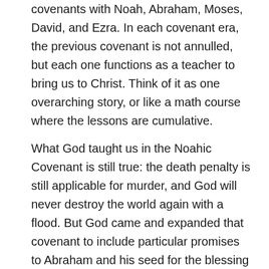covenants with Noah, Abraham, Moses, David, and Ezra. In each covenant era, the previous covenant is not annulled, but each one functions as a teacher to bring us to Christ. Think of it as one overarching story, or like a math course where the lessons are cumulative.
What God taught us in the Noahic Covenant is still true: the death penalty is still applicable for murder, and God will never destroy the world again with a flood. But God came and expanded that covenant to include particular promises to Abraham and his seed for the blessing of all the nations of the earth. Likewise, God remembered